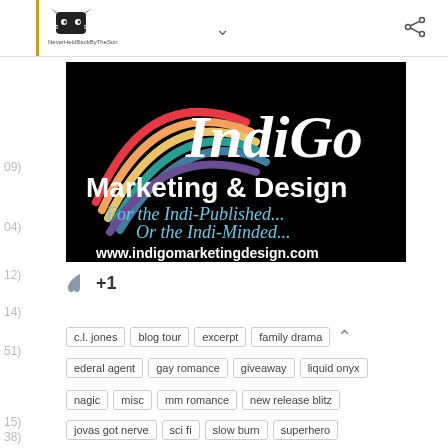NeverHeldBackByTheSun — blog header with share icon
[Figure (logo): IndiGo Marketing & Design banner on black background with rainbow streaks. Text: 'IndiGo Marketing & Design — For the Indi-Published... Or the Indi-Minded... www.indigomarketingdesign.com']
+1
c.l. jones
blog tour
excerpt
family drama
federal agent
gay romance
giveaway
liquid onyx
magic
misc
mm romance
new release blitz
jovas got nerve
sci fi
slow burn
superhero